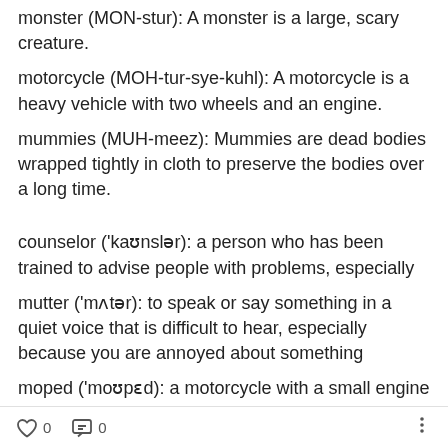monster (MON-stur): A monster is a large, scary creature.
motorcycle (MOH-tur-sye-kuhl): A motorcycle is a heavy vehicle with two wheels and an engine.
mummies (MUH-meez): Mummies are dead bodies wrapped tightly in cloth to preserve the bodies over a long time.
counselor ('kaʊnslər): a person who has been trained to advise people with problems, especially
mutter ('mʌtər): to speak or say something in a quiet voice that is difficult to hear, especially because you are annoyed about something
moped ('moʊpɛd): a motorcycle with a small engine a
0  0